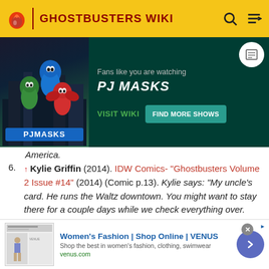GHOSTBUSTERS WIKI
[Figure (screenshot): PJ Masks promotional banner ad on Ghostbusters Wiki. Shows PJ Masks characters on left, text 'Fans like you are watching PJ MASKS' with VISIT WIKI and FIND MORE SHOWS buttons on dark green background.]
America.
6. ↑ Kylie Griffin (2014). IDW Comics- "Ghostbusters Volume 2 Issue #14" (2014) (Comic p.13). Kylie says: "My uncle's card. He runs the Waltz downtown. You might want to stay there for a couple days while we check everything over. And don't worry - room's covered. He owes me. He owes me a lot."
[Figure (screenshot): Advertisement: Women's Fashion | Shop Online | VENUS. Shop the best in women's fashion, clothing, swimwear. venus.com]